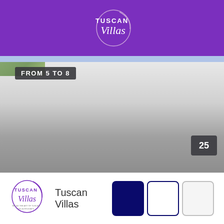[Figure (logo): Tuscan Villas logo on purple header bar — circular emblem with 'TUSCAN Villas' text in white/silver italic script]
[Figure (photo): Outdoor photo of Tuscan villas/landscape, mostly faded or obscured, with greenery visible at top-left. Image fades from light gray at top to dark gray at bottom.]
FROM 5 TO 8
25
[Figure (logo): Tuscan Villas small logo in footer — circular purple emblem with italic script]
Tuscan Villas
[Figure (other): Three color swatches: navy blue filled square, white square with navy border, off-white square with light gray border]